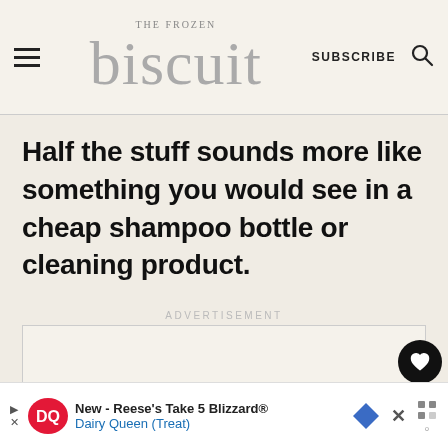THE FROZEN biscuit — SUBSCRIBE
Half the stuff sounds more like something you would see in a cheap shampoo bottle or cleaning product.
ADVERTISEMENT
New - Reese's Take 5 Blizzard® Dairy Queen (Treat)